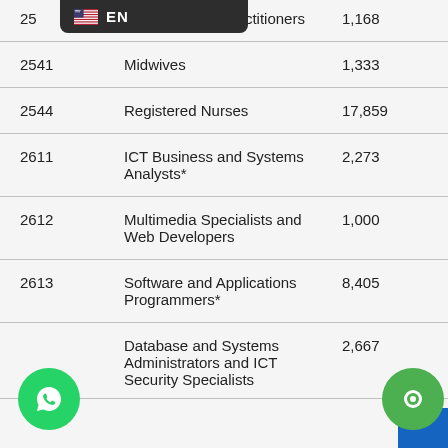| Code | Occupation | Count |
| --- | --- | --- |
| 25[partially visible] | Other Medical Practitioners | 1,168 |
| 2541 | Midwives | 1,333 |
| 2544 | Registered Nurses | 17,859 |
| 2611 | ICT Business and Systems Analysts* | 2,273 |
| 2612 | Multimedia Specialists and Web Developers | 1,000 |
| 2613 | Software and Applications Programmers* | 8,405 |
| [partially visible] | Database and Systems Administrators and ICT Security Specialists | 2,667 |